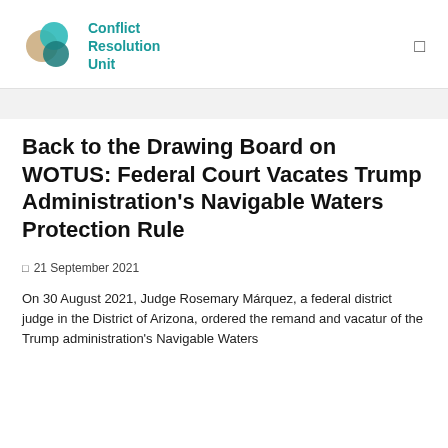Conflict Resolution Unit
Back to the Drawing Board on WOTUS: Federal Court Vacates Trump Administration's Navigable Waters Protection Rule
📅 21 September 2021
On 30 August 2021, Judge Rosemary Márquez, a federal district judge in the District of Arizona, ordered the remand and vacatur of the Trump administration's Navigable Waters